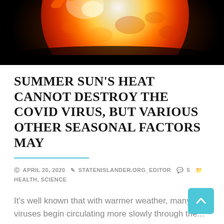[Figure (photo): Close-up photo of the sun's surface glowing orange and red with solar flare activity, set against a black background at the top of the page]
SUMMER SUN'S HEAT CANNOT DESTROY THE COVID VIRUS, BUT VARIOUS OTHER SEASONAL FACTORS MAY
APRIL 20, 2020  STATENISLANDER.ORG_EDITOR  5  HEALTH, SCIENCE
It's well known that with warmer weather, many viruses begin circulating more slowly through the...